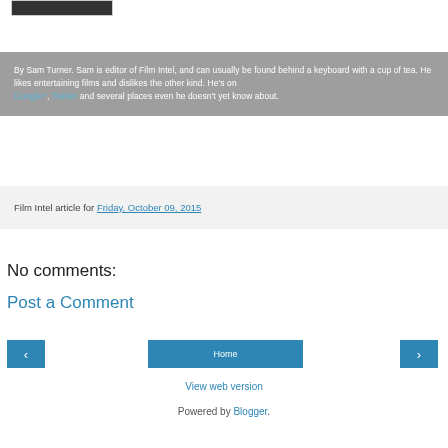[Figure (photo): Small partial image at top left, dark content]
By Sam Turner. Sam is editor of Film Intel, and can usually be found behind a keyboard with a cup of tea. He likes entertaining films and dislikes the other kind. He's on Google+, Twitter and several places even he doesn't yet know about.
Film Intel article for Friday, October 09, 2015
No comments:
Post a Comment
Home
View web version
Powered by Blogger.